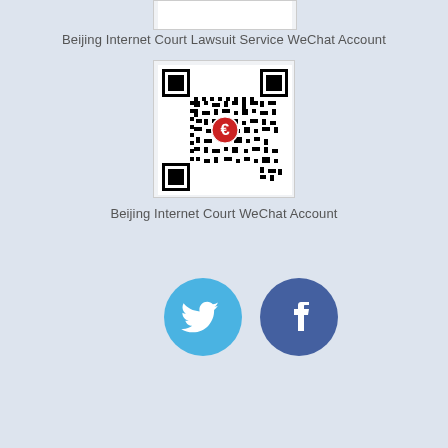[Figure (other): Partial QR code for Beijing Internet Court Lawsuit Service WeChat Account, cropped at top]
Beijing Internet Court Lawsuit Service WeChat Account
[Figure (other): QR code for Beijing Internet Court WeChat Account with red circular logo in center]
Beijing Internet Court WeChat Account
[Figure (other): Twitter bird icon in sky blue circle and Facebook f icon in dark blue circle]